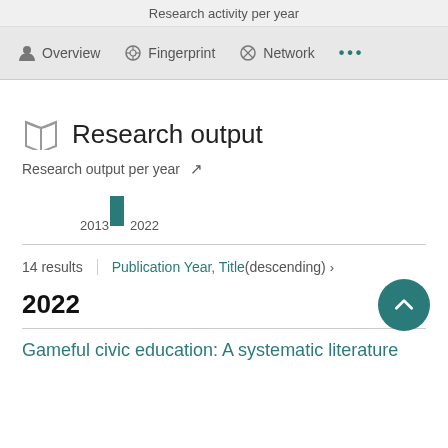Research activity per year
Overview  Fingerprint  Network  ...
Research output
Research output per year
[Figure (bar-chart): Research output per year]
14 results   Publication Year, Title (descending) ›
2022
Gameful civic education: A systematic literature